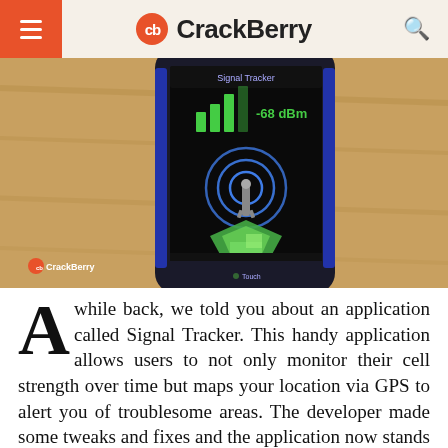CrackBerry
[Figure (photo): A BlackBerry smartphone displaying the Signal Tracker application on a wooden surface. The phone screen shows a signal strength bar graph indicating -68 dBm, along with a wireless signal icon and a map icon. The phone has a dark case. A CrackBerry watermark is visible in the lower right of the image.]
A while back, we told you about an application called Signal Tracker. This handy application allows users to not only monitor their cell strength over time but maps your location via GPS to alert you of troublesome areas. The developer made some tweaks and fixes and the application now stands at version 2.0.